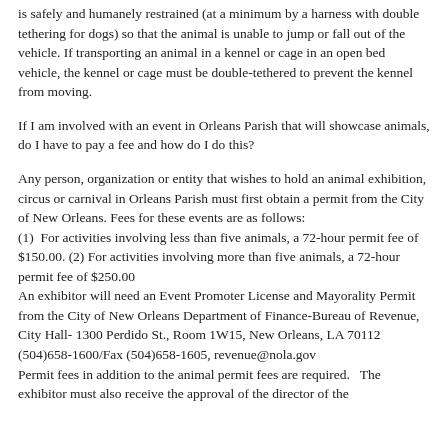is safely and humanely restrained (at a minimum by a harness with double tethering for dogs) so that the animal is unable to jump or fall out of the vehicle. If transporting an animal in a kennel or cage in an open bed vehicle, the kennel or cage must be double-tethered to prevent the kennel from moving.
If I am involved with an event in Orleans Parish that will showcase animals, do I have to pay a fee and how do I do this?
Any person, organization or entity that wishes to hold an animal exhibition, circus or carnival in Orleans Parish must first obtain a permit from the City of New Orleans. Fees for these events are as follows:
(1)  For activities involving less than five animals, a 72-hour permit fee of $150.00. (2) For activities involving more than five animals, a 72-hour permit fee of $250.00
An exhibitor will need an Event Promoter License and Mayorality Permit from the City of New Orleans Department of Finance-Bureau of Revenue,
City Hall- 1300 Perdido St., Room 1W15, New Orleans, LA 70112
(504)658-1600/Fax (504)658-1605, revenue@nola.gov
Permit fees in addition to the animal permit fees are required.   The exhibitor must also receive the approval of the director of the